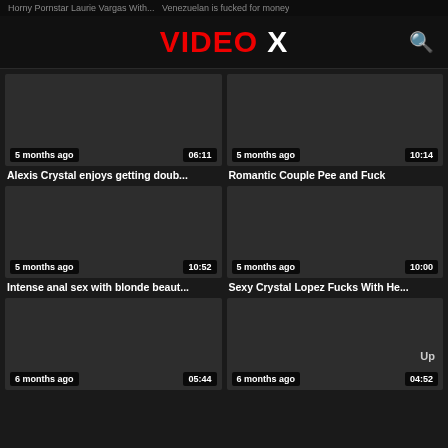Horny Pornstar Laurie Vargas With...  Venezuelan is fucked for money
VIDEO X
[Figure (screenshot): Video thumbnail 1 - dark, 5 months ago, 06:11]
Alexis Crystal enjoys getting doub...
[Figure (screenshot): Video thumbnail 2 - dark, 5 months ago, 10:14]
Romantic Couple Pee and Fuck
[Figure (screenshot): Video thumbnail 3 - dark, 5 months ago, 10:52]
Intense anal sex with blonde beaut...
[Figure (screenshot): Video thumbnail 4 - dark, 5 months ago, 10:00]
Sexy Crystal Lopez Fucks With He...
[Figure (screenshot): Video thumbnail 5 - dark, 6 months ago, 05:44]
[Figure (screenshot): Video thumbnail 6 - dark, 6 months ago, 04:52]